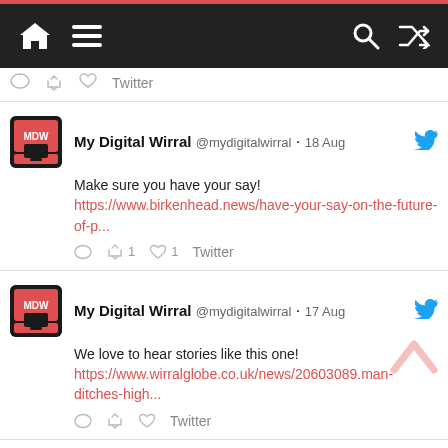Navigation bar with home, menu, search, and shuffle icons
Twitter (action bar)
[Figure (screenshot): Tweet from My Digital Wirral @mydigitalwirral · 18 Aug: Make sure you have your say! https://www.birkenhead.news/have-your-say-on-the-future-of-p... Retweet 1, Like 1, Twitter]
[Figure (screenshot): Tweet from My Digital Wirral @mydigitalwirral · 17 Aug: We love to hear stories like this one! https://www.wirralglobe.co.uk/news/20603089.man-ditches-high... Twitter]
[Figure (screenshot): Partial tweet from My Digital Wirral @mydigitalwirral · 16 Aug (cut off at bottom)]